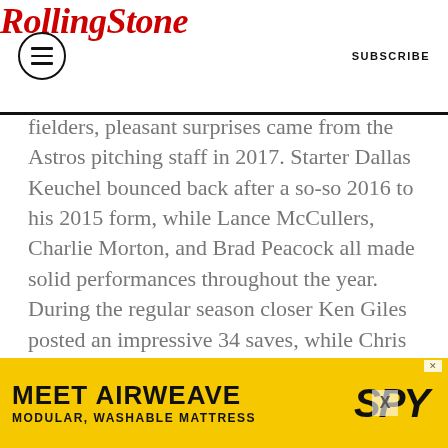Rolling Stone | SUBSCRIBE
fielders, pleasant surprises came from the Astros pitching staff in 2017. Starter Dallas Keuchel bounced back after a so-so 2016 to his 2015 form, while Lance McCullers, Charlie Morton, and Brad Peacock all made solid performances throughout the year. During the regular season closer Ken Giles posted an impressive 34 saves, while Chris Devenski and Joe Musgrove helped bridge the gap between starters and the 9th inning. Moreover, the organization's middle of the night efforts to grab Justin Verlander from the Detroit Tigers just sweetened the deal.
While the Astros' pitching assets looked set for the task of a tough postseason, it was the
[Figure (infographic): Advertisement banner: MEET AIRWEAVE MODULAR, WASHABLE MATTRESS with SPY logo on yellow background]